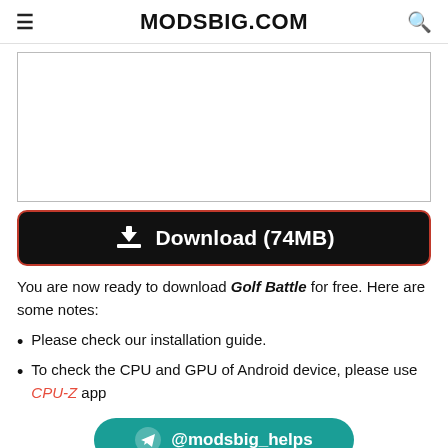MODSBIG.COM
[Figure (other): Advertisement area (white bordered rectangle)]
Download (74MB)
You are now ready to download Golf Battle for free. Here are some notes:
Please check our installation guide.
To check the CPU and GPU of Android device, please use CPU-Z app
[Figure (other): Telegram button: @modsbig_helps]